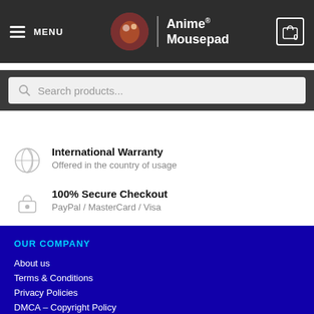MENU | Anime® Mousepad | 0
Search products...
International Warranty
Offered in the country of usage
100% Secure Checkout
PayPal / MasterCard / Visa
OUR COMPANY
About us
Terms & Conditions
Privacy Policies
DMCA – Copyright Policy